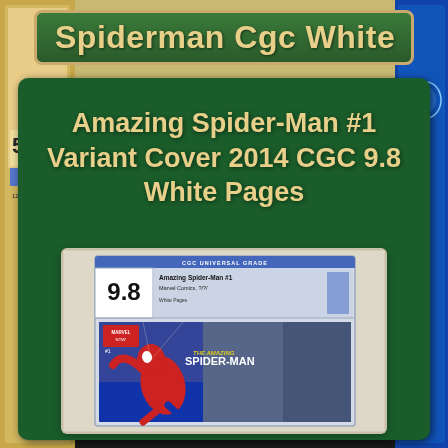[Figure (photo): Background showing CGC-graded comic books in cases, including what appears to be an older Spider-Man issue graded 5.0]
Spiderman Cgc White
Amazing Spider-Man #1 Variant Cover 2014 CGC 9.8 White Pages
[Figure (photo): CGC graded Amazing Spider-Man #1 Variant Cover 2014 in a clear plastic slab showing grade 9.8 with blue CGC Universal Grade label at top and the comic book cover featuring Spider-Man swinging]